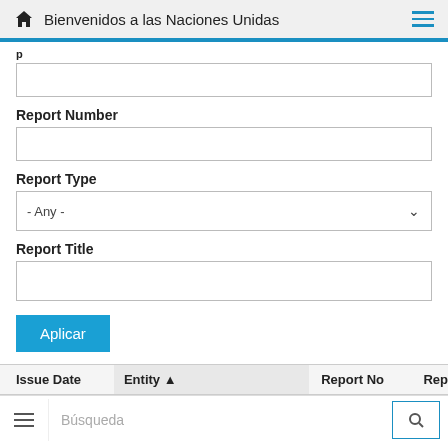Bienvenidos a las Naciones Unidas
Report Number
Report Type
- Any -
Report Title
Aplicar
| Issue Date | Entity | Report No | Rep |
| --- | --- | --- | --- |